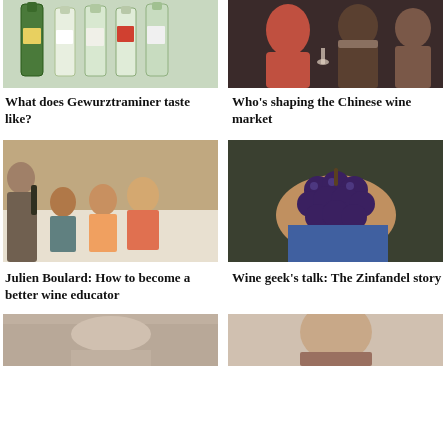[Figure (photo): Five wine bottles (white/green) lined up - Gewurztraminer wines]
[Figure (photo): People at a wine tasting event, smiling and holding glasses]
What does Gewurztraminer taste like?
Who’s shaping the Chinese wine market
[Figure (photo): Wine educator Julien Boulard pouring wine at a class, attendees at tables]
[Figure (photo): Hand holding a cluster of dark red/blue Zinfandel grapes]
Julien Boulard: How to become a better wine educator
Wine geek’s talk: The Zinfandel story
[Figure (photo): Partial photo at bottom left - wine related event]
[Figure (photo): Partial photo at bottom right - person portrait]